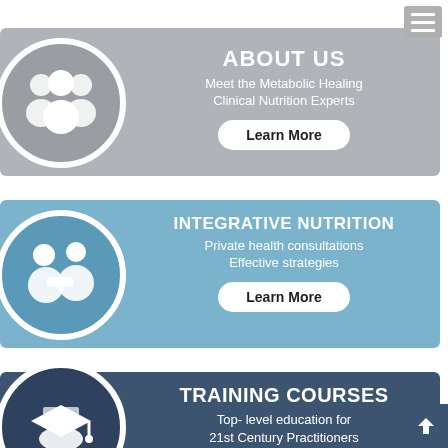[Figure (infographic): About Us panel with group of people icon in grey circle, bold white title 'ABOUT US', subtitle 'Meet the Metabolic Healing Clinical Nutrition Experts', and a Learn More button]
[Figure (infographic): Integrative Nutrition panel with two people handshake icon in blue circle, bold white title 'INTEGRATIVE NUTRITION', subtitle 'Private health consultations Effective strategies', and a Learn More button]
[Figure (infographic): Training Courses panel with graduation cap icon in dark blue circle, bold white title 'TRAINING COURSES', subtitle 'Top- level education for 21st Century Practitioners']